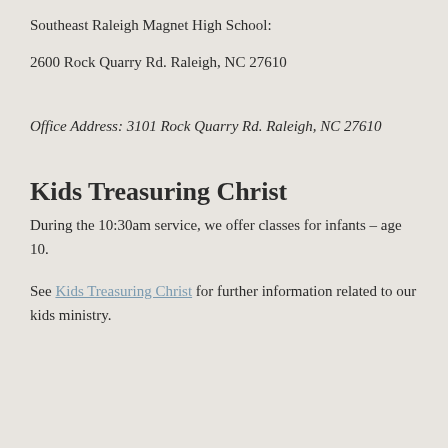Southeast Raleigh Magnet High School:
2600 Rock Quarry Rd. Raleigh, NC 27610
Office Address: 3101 Rock Quarry Rd. Raleigh, NC 27610
Kids Treasuring Christ
During the 10:30am service, we offer classes for infants – age 10.
See Kids Treasuring Christ for further information related to our kids ministry.